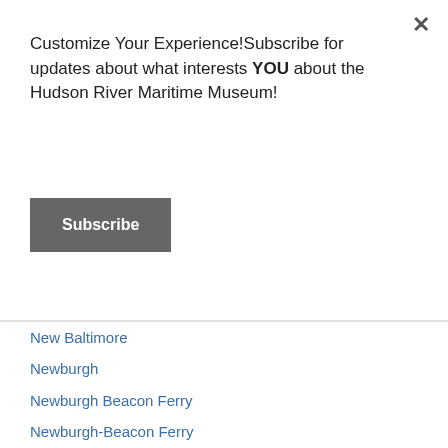Customize Your Experience!Subscribe for updates about what interests YOU about the Hudson River Maritime Museum!
Subscribe
New Baltimore
Newburgh
Newburgh Beacon Ferry
Newburgh-Beacon Ferry
New Jersey
New Rochelle
New Year's Eve
New York
New York City
New York Harbor
New York State
New York State Barge Canal
New York State Department Of Environmental